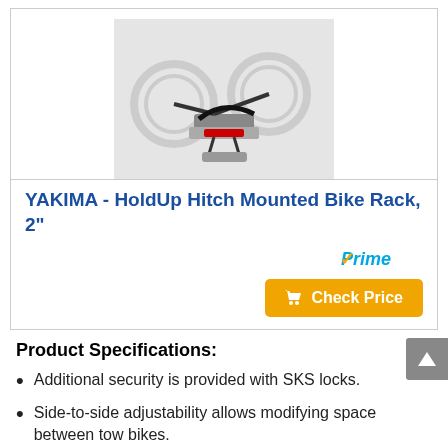[Figure (photo): Photo of YAKIMA HoldUp Hitch Mounted Bike Rack showing bikes loaded on a vehicle hitch mount]
YAKIMA - HoldUp Hitch Mounted Bike Rack, 2"
[Figure (logo): Amazon Prime badge with checkmark and 'Prime' text]
[Figure (other): Orange 'Check Price' button with shopping cart icon]
Product Specifications:
Additional security is provided with SKS locks.
Side-to-side adjustability allows modifying space between tow bikes.
Small and compact design maintains look of SUV